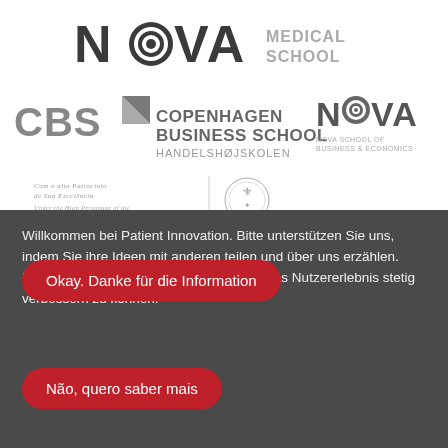[Figure (logo): NOVA Medical School logo]
[Figure (logo): CBS Copenhagen Business School Handelshøjskolen logo and NOVA School of Business & Economics logo]
[Figure (logo): Patronage of the President of the Portuguese Republic with emblem]
Willkommen bei Patient Innovation. Bitte unterstützen Sie uns, indem Sie ihre Ideen mit anderen teilen und über uns erzählen. Unsere Website verwendet Cookies, um das Nutzererlebnis stetig verbessern zu können.
Okay. Danke für die Information
Não, quero saber mais